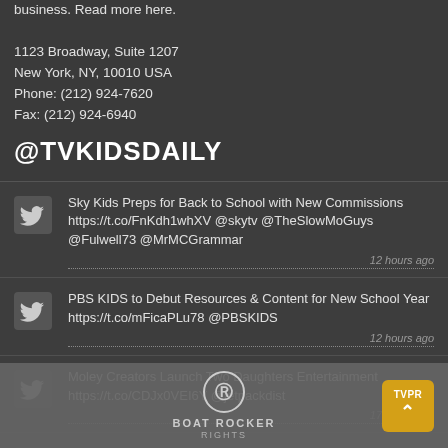business. Read more here.
1123 Broadway, Suite 1207
New York, NY, 10010 USA
Phone: (212) 924-7620
Fax: (212) 924-6940
@TVKIDSDAILY
Sky Kids Preps for Back to School with New Commissions https://t.co/FnKdh1whXV @skytv @TheSlowMoGuys @Fulwell73 @MrMCGrammar
12 hours ago
PBS KIDS to Debut Resources & Content for New School Year https://t.co/mFicaPLu78 @PBSKIDS
12 hours ago
Moley Creators Launch Two Daughters Entertainment https://t.co/CDJx0VEI6Y @jetpackdist
17 hours ago
Disney Junior Slates Firebuds Premiere
[Figure (logo): Boat Rocker Rights logo overlay with circular R symbol, company name, and a golden TVPR button with up arrow]